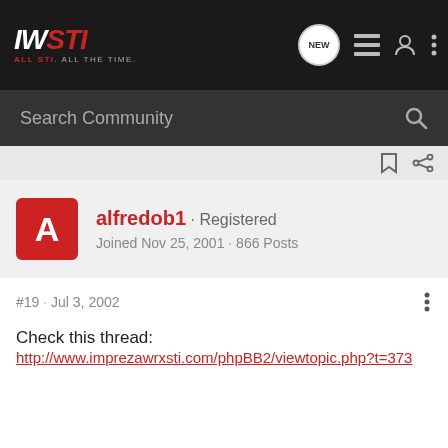IWSTI · ALL STI. ALL THE TIME.
Search Community
alfredob1 · Registered
Joined Nov 25, 2001 · 866 Posts
#19 · Jul 3, 2002
Check this thread:
http://www.imprezawrxsti.com/phpBB2/viewtopic.php?t=373